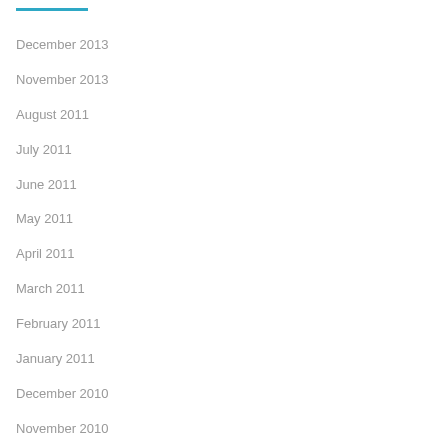December 2013
November 2013
August 2011
July 2011
June 2011
May 2011
April 2011
March 2011
February 2011
January 2011
December 2010
November 2010
October 2010